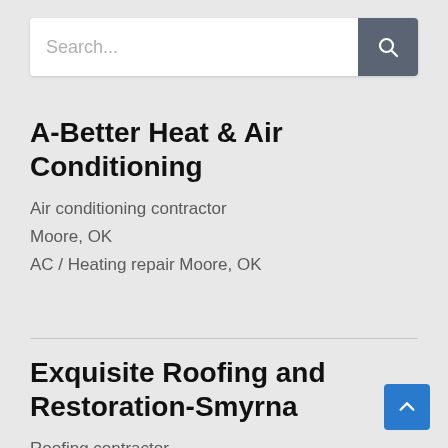[Figure (screenshot): Search bar with placeholder text 'Search...' and a dark gray search button with magnifying glass icon]
A-Better Heat & Air Conditioning
Air conditioning contractor
Moore, OK
AC / Heating repair Moore, OK
Exquisite Roofing and Restoration-Smyrna
Roofing contractor
Smyrna, Georgia